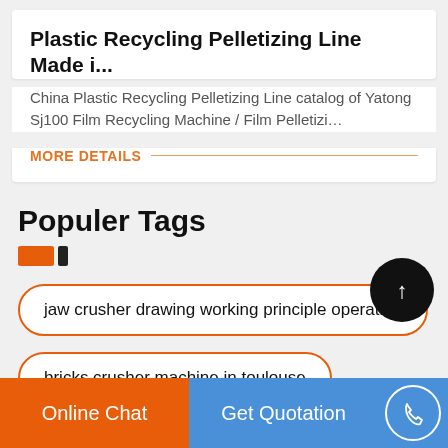Plastic Recycling Pelletizing Line Made i...
China Plastic Recycling Pelletizing Line catalog of Yatong Sj100 Film Recycling Machine / Film Pelletizi…
MORE DETAILS
Populer Tags
jaw crusher drawing working principle operation
bricks crusher machine in toulouse